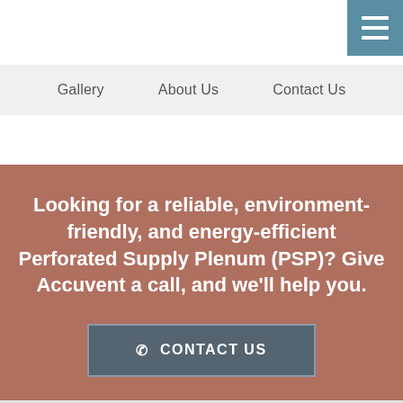Gallery | About Us | Contact Us
Looking for a reliable, environment-friendly, and energy-efficient Perforated Supply Plenum (PSP)? Give Accuvent a call, and we'll help you.
CONTACT US
[Figure (logo): AccuVent company logo at bottom of page]